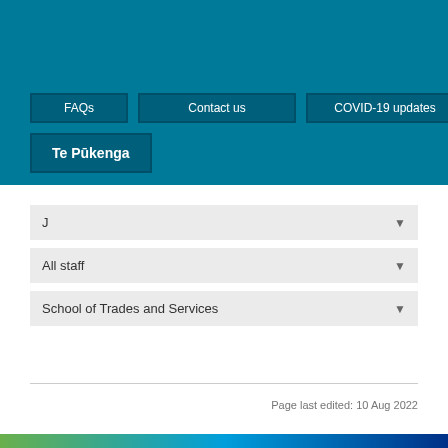[Figure (screenshot): Navigation header with teal/dark teal background showing FAQs, Contact us, COVID-19 updates, and Te Pūkenga buttons]
J
All staff
School of Trades and Services
Page last edited: 10 Aug 2022